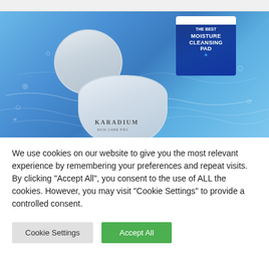[Figure (photo): Skincare products (two white jars and a blue box labeled 'Moisture Cleansing Pad') floating in splashing blue water.]
We use cookies on our website to give you the most relevant experience by remembering your preferences and repeat visits. By clicking "Accept All", you consent to the use of ALL the cookies. However, you may visit "Cookie Settings" to provide a controlled consent.
Cookie Settings
Accept All